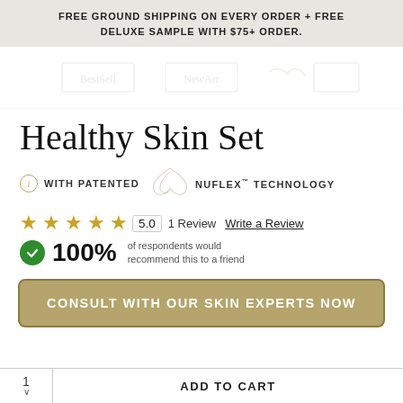FREE GROUND SHIPPING ON EVERY ORDER + FREE DELUXE SAMPLE WITH $75+ ORDER.
[Figure (screenshot): Navigation bar with faded product thumbnail images]
Healthy Skin Set
(i) WITH PATENTED NUFLEX™ TECHNOLOGY
★★★★★ 5.0  1 Review  Write a Review
100% of respondents would recommend this to a friend
CONSULT WITH OUR SKIN EXPERTS NOW
1 ∨  ADD TO CART